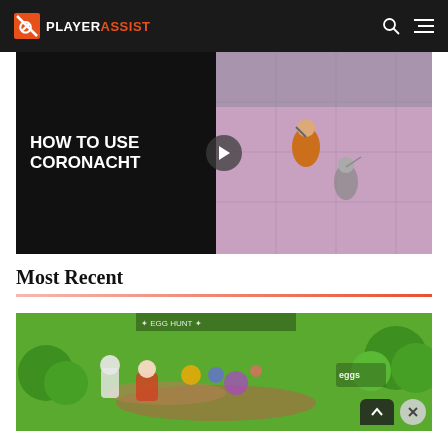PLAYER ASSIST
[Figure (screenshot): Video thumbnail showing 'HOW TO USE CORONACHT' text on dark background left side, with isometric game scene on right side showing characters in a colorful environment. Play button in center.]
Most Recent
[Figure (screenshot): Colorful Roblox-style game screenshot showing green landscape with cartoon characters, trees, and eggs. Close button and scroll-up button overlay visible at bottom right.]